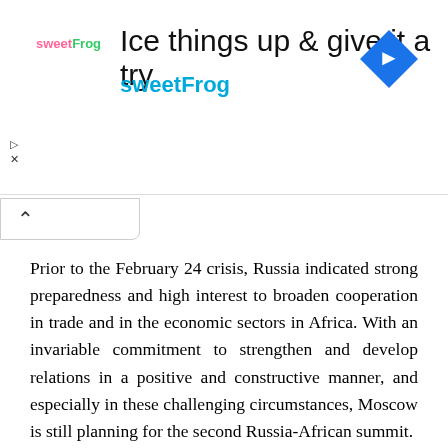[Figure (other): Advertisement banner for sweetFrog frozen yogurt. Contains sweetFrog logo, text 'Ice things up & give it a try', brand name 'sweetFrog' in blue, and a blue diamond navigation icon on the right.]
Prior to the February 24 crisis, Russia indicated strong preparedness and high interest to broaden cooperation in trade and in the economic sectors in Africa. With an invariable commitment to strengthen and develop relations in a positive and constructive manner, and especially in these challenging circumstances, Moscow is still planning for the second Russia-African summit.
Gerrit Olivier, an Emeritus Professor at Pretoria University and former South African Ambassador in Russia and Kazakhstan, said South Africa, a member of BRICS and an economic powerhouse in Africa, abstained from voting against Russia. There have been many